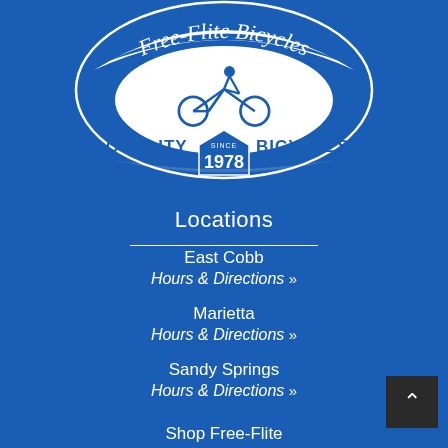[Figure (logo): Free-Flite Bicycles circular logo with cyclist silhouette, text 'QUALITY BICYCLES' and 'SINCE 1978' on a blue background]
Locations
East Cobb
Hours & Directions »
Marietta
Hours & Directions »
Sandy Springs
Hours & Directions »
Shop Free-Flite